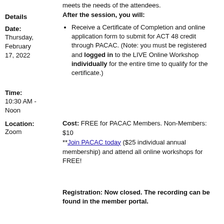meets the needs of the attendees.
Details
After the session, you will:
Date:
Thursday, February 17, 2022
Receive a Certificate of Completion and online application form to submit for ACT 48 credit through PACAC. (Note: you must be registered and logged in to the LIVE Online Workshop individually for the entire time to qualify for the certificate.)
Time:
10:30 AM - Noon
Location:
Zoom
Cost:  FREE for PACAC Members. Non-Members: $10
**Join PACAC today ($25 individual annual membership) and attend all online workshops for FREE!
Registration: Now closed.  The recording can be found in the member portal.